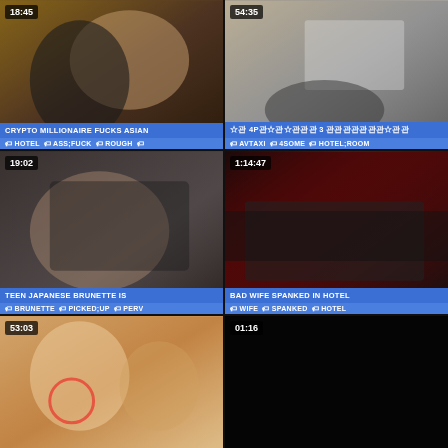[Figure (screenshot): Video thumbnail card 1: duration 18:45, title CRYPTO MILLIONAIRE FUCKS ASIAN, tags: HOTEL, ASS;FUCK, ROUGH]
[Figure (screenshot): Video thumbnail card 2: duration 54:35, Japanese title with 4P and 3, tags: AVTAXI, 4SOME, HOTEL;ROOM]
[Figure (screenshot): Video thumbnail card 3: duration 19:02, title TEEN JAPANESE BRUNETTE IS, tags: BRUNETTE, PICKED;UP, PERV]
[Figure (screenshot): Video thumbnail card 4: duration 1:14:47, title BAD WIFE SPANKED IN HOTEL, tags: WIFE, SPANKED, HOTEL]
[Figure (screenshot): Video thumbnail card 5: duration 53:03, no title visible, red circle overlay on thumbnail]
[Figure (screenshot): Video thumbnail card 6: duration 01:16, nearly black/dark thumbnail, no title visible]